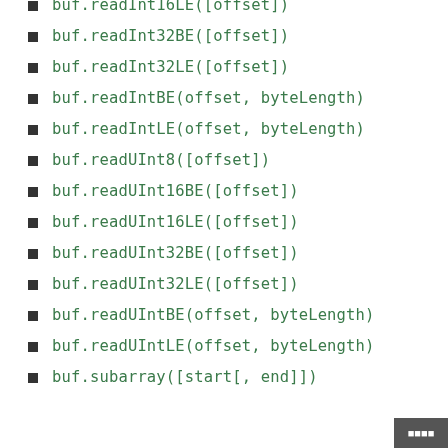buf.readInt16LE([offset])
buf.readInt32BE([offset])
buf.readInt32LE([offset])
buf.readIntBE(offset, byteLength)
buf.readIntLE(offset, byteLength)
buf.readUInt8([offset])
buf.readUInt16BE([offset])
buf.readUInt16LE([offset])
buf.readUInt32BE([offset])
buf.readUInt32LE([offset])
buf.readUIntBE(offset, byteLength)
buf.readUIntLE(offset, byteLength)
buf.subarray([start[, end]])